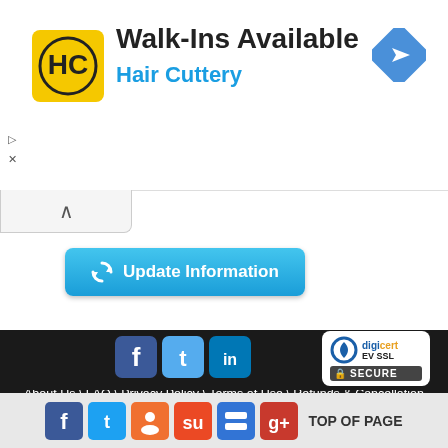[Figure (infographic): Hair Cuttery advertisement banner with HC logo, 'Walk-Ins Available' heading, 'Hair Cuttery' subtitle in blue, and a navigation arrow icon on the right]
[Figure (screenshot): Update Information button with refresh icon, styled in blue gradient]
All Companies \ All Directors \ All Trademarks \ Septaz \ Import Export Data
About Us \ FAQ \ Privacy Policy \ Terms of Use \ Refunds & Cancellation \ Contact US
© 2013 Zauba Technologies & Data Services Private Limited. All rights reserved.
[Figure (screenshot): Footer social icons (Facebook, Twitter, LinkedIn) and DigiCert EV SSL Secure badge]
[Figure (screenshot): Bottom bar with social sharing icons (Facebook, Twitter, groups, StumbleUpon, Delicious, Google+) and TOP OF PAGE text]